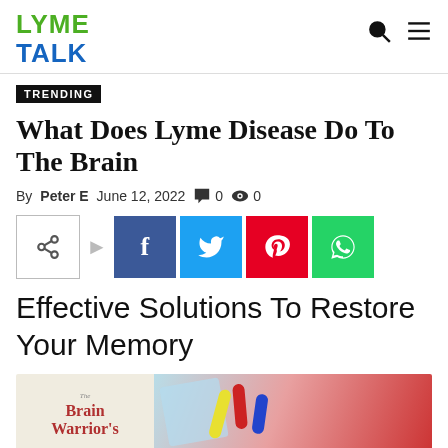LYME TALK
What Does Lyme Disease Do To The Brain
By Peter E  June 12, 2022  0  0
[Figure (screenshot): Social share buttons: share icon, Facebook, Twitter, Pinterest, WhatsApp]
Effective Solutions To Restore Your Memory
[Figure (photo): Bottom strip: book cover showing 'The Brain Warrior's' text on left, colorful pills/capsules photo on right]